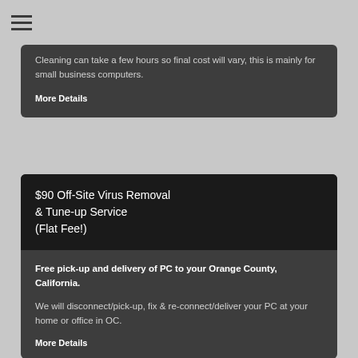≡
Cleaning can take a few hours so final cost will vary, this is mainly for small business computers.
More Details
$90 Off-Site Virus Removal & Tune-up Service (Flat Fee!)
Free pick-up and delivery of PC to your Orange County, California.
We will disconnect/pick-up, fix & re-connect/deliver your PC at your home or office in OC.
More Details